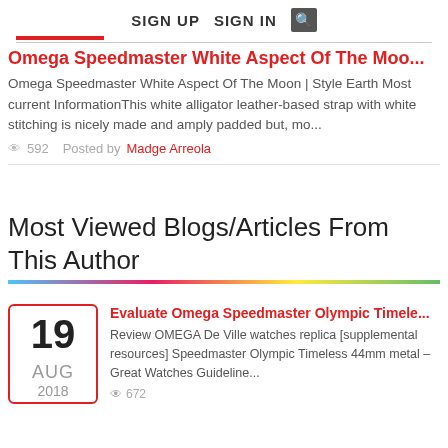SIGN UP  SIGN IN  [search]
Omega Speedmaster White Aspect Of The Moo...
Omega Speedmaster White Aspect Of The Moon | Style Earth Most current InformationThis white alligator leather-based strap with white stitching is nicely made and amply padded but, mo...
592  Posted by Madge Arreola
Most Viewed Blogs/Articles From This Author
Evaluate Omega Speedmaster Olympic Timele...
Review OMEGA De Ville watches replica [supplemental resources] Speedmaster Olympic Timeless 44mm metal – Great Watches Guideline...
672
19 AUG 2018